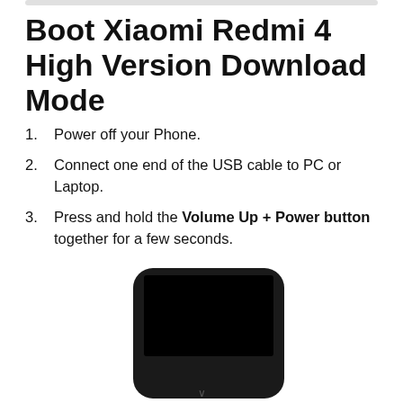Boot Xiaomi Redmi 4 High Version Download Mode
Power off your Phone.
Connect one end of the USB cable to PC or Laptop.
Press and hold the Volume Up + Power button together for a few seconds.
[Figure (illustration): Bottom portion of a Xiaomi Redmi 4 smartphone showing the device in download mode with a dark screen.]